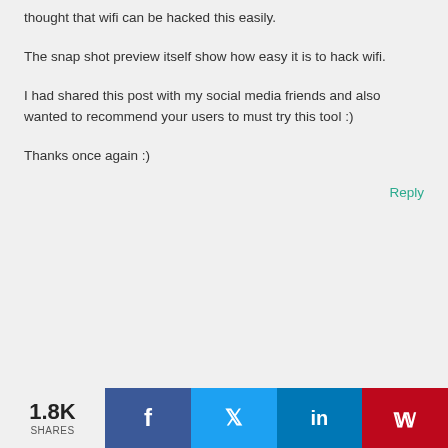thought that wifi can be hacked this easily.
The snap shot preview itself show how easy it is to hack wifi.
I had shared this post with my social media friends and also wanted to recommend your users to must try this tool :)
Thanks once again :)
Reply
1.8K SHARES | Facebook | Twitter | LinkedIn | Pinterest